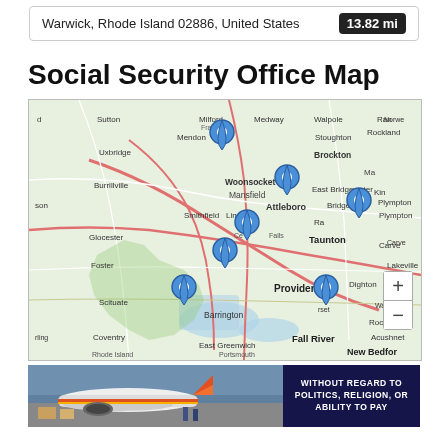Warwick, Rhode Island 02886, United States  13.82 mi
Social Security Office Map
[Figure (map): Map showing Social Security office locations around Providence, Rhode Island and surrounding areas including Woonsocket, Attleboro, Taunton, Fall River, and other nearby cities. Multiple blue map pin markers indicate office locations.]
[Figure (photo): Photo of airplanes on a tarmac, appears to be Southwest Airlines aircraft being loaded with cargo.]
[Figure (infographic): Dark blue banner with text 'WITHOUT REGARD TO POLITICS, RELIGION, OR ABILITY TO PAY']